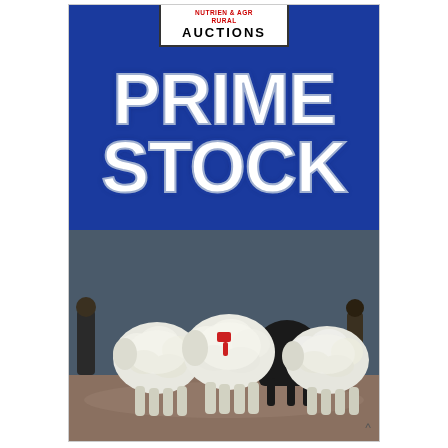[Figure (logo): Auctions logo/badge at top center of card, white background with red and black text reading 'AUCTIONS']
PRIME STOCK
[Figure (photo): Photograph of three white sheep viewed from behind, standing in a dusty outdoor auction yard with people visible in background]